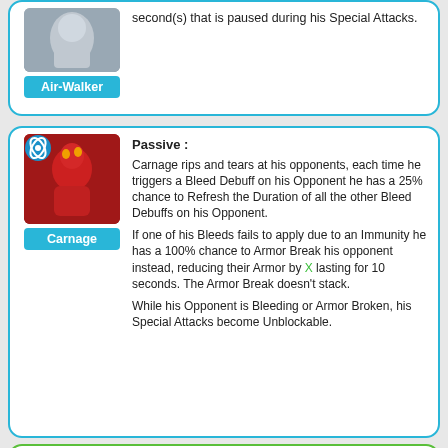[Figure (infographic): Air-Walker character card (partial, top): character image and blue name label, with text about Special Attacks]
second(s) that is paused during his Special Attacks.
[Figure (infographic): Carnage character card with cosmic icon badge, character image, blue name label, and Passive ability description]
Passive : Carnage rips and tears at his opponents, each time he triggers a Bleed Debuff on his Opponent he has a 25% chance to Refresh the Duration of all the other Bleed Debuffs on his Opponent. If one of his Bleeds fails to apply due to an Immunity he has a 100% chance to Armor Break his opponent instead, reducing their Armor by X lasting for 10 seconds. The Armor Break doesn't stack. While his Opponent is Bleeding or Armor Broken, his Special Attacks become Unblockable.
[Figure (infographic): Hulk (Immortal) character card (partial, bottom): green border card with science icon, character image, green name label, Immortality ability description]
Immortality: When receiving damage that would knock out Hulk, consume 15% of Max Health as Gamma Radiation and gain an Immortality Passive...